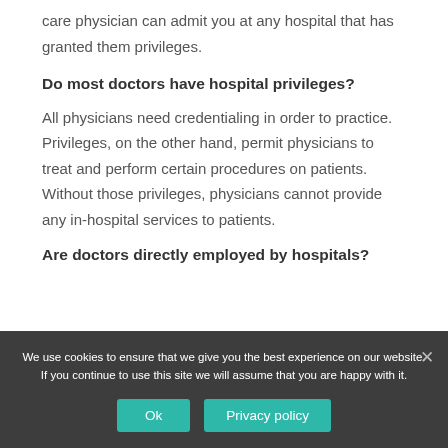care physician can admit you at any hospital that has granted them privileges.
Do most doctors have hospital privileges?
All physicians need credentialing in order to practice. Privileges, on the other hand, permit physicians to treat and perform certain procedures on patients. Without those privileges, physicians cannot provide any in-hospital services to patients.
Are doctors directly employed by hospitals?
We use cookies to ensure that we give you the best experience on our website. If you continue to use this site we will assume that you are happy with it.